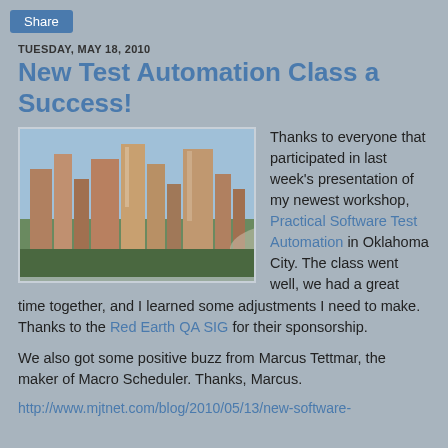Share
TUESDAY, MAY 18, 2010
New Test Automation Class a Success!
[Figure (photo): City skyline photo showing tall buildings under a blue sky]
Thanks to everyone that participated in last week's presentation of my newest workshop, Practical Software Test Automation in Oklahoma City. The class went well, we had a great time together, and I learned some adjustments I need to make. Thanks to the Red Earth QA SIG for their sponsorship.
We also got some positive buzz from Marcus Tettmar, the maker of Macro Scheduler. Thanks, Marcus.
http://www.mjtnet.com/blog/2010/05/13/new-software-